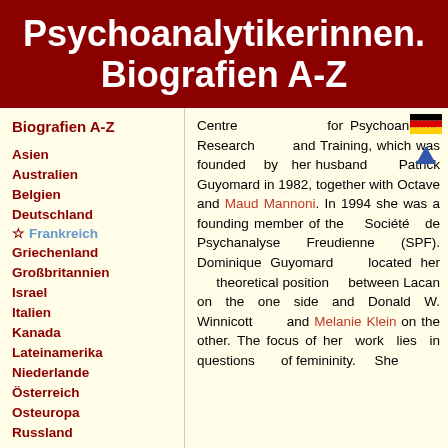Psychoanalytikerinnen. Biografien A-Z
Biografien A-Z
Asien
Australien
Belgien
Deutschland
★ Frankreich
Griechenland
Großbritannien
Israel
Italien
Kanada
Lateinamerika
Niederlande
Österreich
Osteuropa
Russland
Schweiz
Skandinavien
Spanien
Türkei
Ungarn
USA
Centre for Psychoanalytic Research and Training, which was founded by her husband Patrick Guyomard in 1982, together with Octave and Maud Mannoni. In 1994 she was a founding member of the Société de Psychanalyse Freudienne (SPF). Dominique Guyomard located her theoretical position between Lacan on the one side and Donald W. Winnicott and Melanie Klein on the other. The focus of her work lies in questions of femininity. She